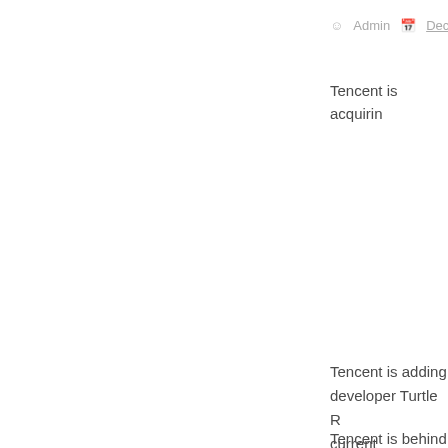Admin  December
Tencent is acquirin
Tencent is adding developer Turtle R current leadership
Tencent is behind